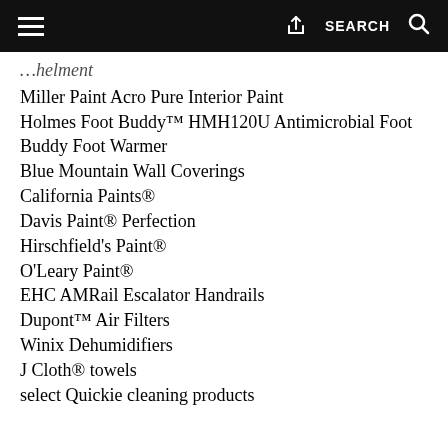Navigation bar with hamburger menu, share icon, SEARCH label, and search icon
helment
Miller Paint Acro Pure Interior Paint
Holmes Foot Buddy™ HMH120U Antimicrobial Foot Buddy Foot Warmer
Blue Mountain Wall Coverings
California Paints®
Davis Paint® Perfection
Hirschfield's Paint®
O'Leary Paint®
EHC AMRail Escalator Handrails
Dupont™ Air Filters
Winix Dehumidifiers
J Cloth® towels
select Quickie cleaning products